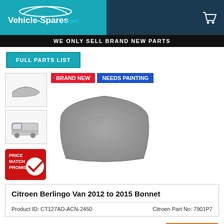Vehicle-Spares.com
WE ONLY SELL BRAND NEW PARTS
FULL PARTS LIST
[Figure (photo): Citroen Berlingo Van bonnet part - thumbnail view, grey]
[Figure (photo): Citroen Berlingo Van - vehicle thumbnail showing side view]
[Figure (photo): Main product image: grey unpainted car bonnet for Citroen Berlingo Van with BRAND NEW and NEEDS PAINTING badges]
[Figure (logo): Price Match Promise badge with red background and checkmark]
Citroen Berlingo Van 2012 to 2015 Bonnet
Product ID: CT127AD-ACN-2450    Citroen Part No: 7901P7
£182.93 inc.VAT £152.44 ex.VAT
ALMOST GONE! 2 In Stock